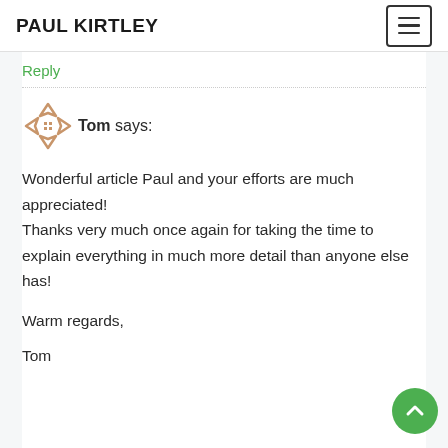PAUL KIRTLEY
Reply
Tom says:
Wonderful article Paul and your efforts are much appreciated!
Thanks very much once again for taking the time to explain everything in much more detail than anyone else has!

Warm regards,

Tom